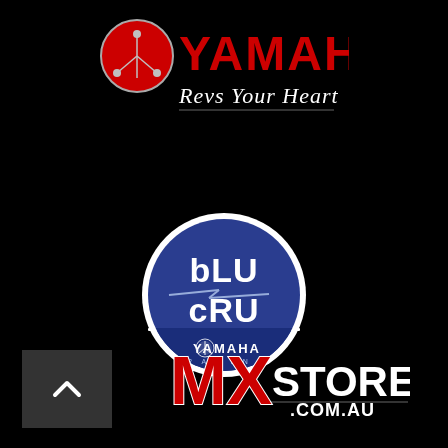[Figure (logo): Yamaha logo with tuning fork emblem in red and silver, with 'YAMAHA' text in red and 'Revs Your Heart' slogan in white italic script]
[Figure (logo): bLU cRU Yamaha Racing circular badge — blue circle with white border, 'bLU cRU' text in white, lightning bolt graphic, and 'YAMAHA RACING' text at bottom]
[Figure (logo): MX Store logo — 'MX' in bold red with white outline, 'STORE' in white, '.COM.AU' below in white on dark background]
[Figure (other): Back-to-top navigation button — dark grey square with white upward chevron arrow]